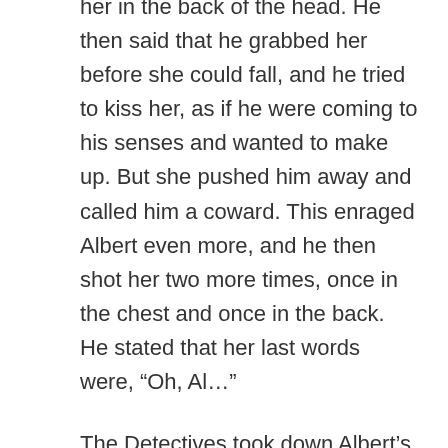her in the back of the head. He then said that he grabbed her before she could fall, and he tried to kiss her, as if he were coming to his senses and wanted to make up. But she pushed him away and called him a coward. This enraged Albert even more, and he then shot her two more times, once in the chest and once in the back. He stated that her last words were, “Oh, Al…”
The Detectives took down Albert’s statement, and then they had him sign it so that it would be near impossible to fight if he changed his story later.